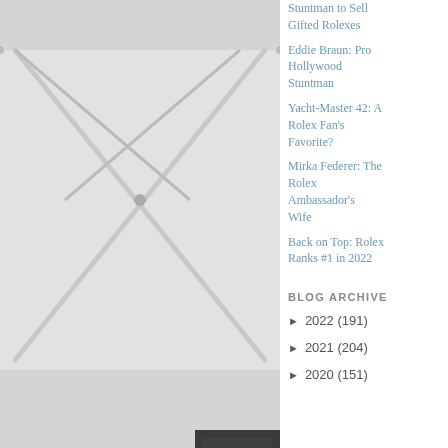[Figure (photo): Photograph of a woman with short blonde hair looking down, wearing dark clothing, partially obscured by someone in a white shirt/jacket, under a white tent canopy structure outdoors.]
Stuntman to Sell Gifted Rolexes
Eddie Braun: Pro Hollywood Stuntman
Yacht-Master 42: A Rolex Fan's Favorite?
Mirka Federer: The Rolex Ambassador's Wife
Back on Top: Rolex Ranks #1 in 2022
BLOG ARCHIVE
► 2022 (191)
► 2021 (204)
► 2020 (151)